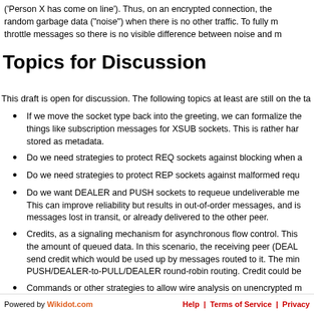('Person X has come on line'). Thus, on an encrypted connection, the random garbage data ("noise") when there is no other traffic. To fully m throttle messages so there is no visible difference between noise and m
Topics for Discussion
This draft is open for discussion. The following topics at least are still on the ta
If we move the socket type back into the greeting, we can formalize the things like subscription messages for XSUB sockets. This is rather har stored as metadata.
Do we need strategies to protect REQ sockets against blocking when a
Do we need strategies to protect REP sockets against malformed requ
Do we want DEALER and PUSH sockets to requeue undeliverable me This can improve reliability but results in out-of-order messages, and is messages lost in transit, or already delivered to the other peer.
Credits, as a signaling mechanism for asynchronous flow control. This the amount of queued data. In this scenario, the receiving peer (DEAL send credit which would be used up by messages routed to it. The min PUSH/DEALER-to-PULL/DEALER round-robin routing. Credit could be
Commands or other strategies to allow wire analysis on unencrypted m additional information it is not possible to determine when messages s
Powered by Wikidot.com    Help | Terms of Service | Privacy